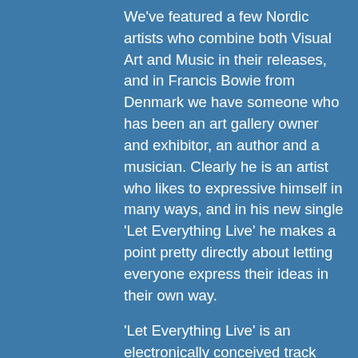We've featured a few Nordic artists who combine both Visual Art and Music in their releases, and in Francis Bowie from Denmark we have someone who has been an art gallery owner and exhibitor, an author and a musician. Clearly he is an artist who likes to expressive himself in many ways, and in his new single 'Let Everything Live' he makes a point pretty directly about letting everyone express their ideas in their own way.
'Let Everything Live' is an electronically conceived track which feels fresh, soft and inviting, with vocals and lyrics that have a fragility to them, but that suits me really well. But the highlight of the track to me is the lovely subtle touches